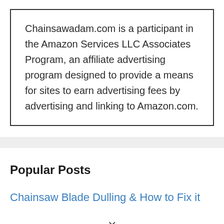Chainsawadam.com is a participant in the Amazon Services LLC Associates Program, an affiliate advertising program designed to provide a means for sites to earn advertising fees by advertising and linking to Amazon.com.
Popular Posts
Chainsaw Blade Dulling & How to Fix it